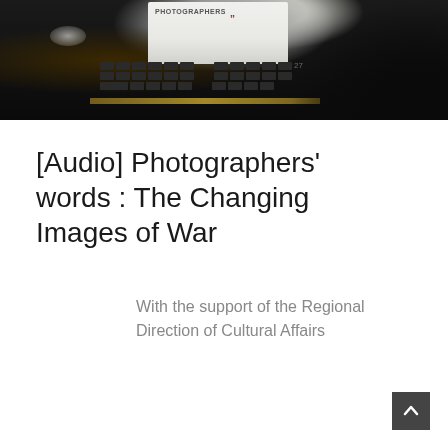[Figure (photo): Dark photograph showing a laptop or computer screen in a dim environment, with a screen displaying text 'PHOTOGRAPHERS' and a red quotation mark, set against a black background with silhouetted figures.]
[Audio] Photographers' words : The Changing Images of War
With the support of the Regional Direction of Cultural Affairs